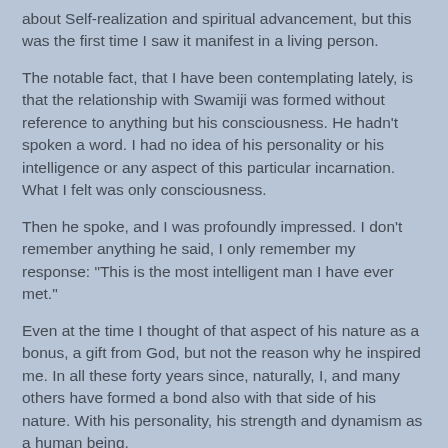about Self-realization and spiritual advancement, but this was the first time I saw it manifest in a living person.
The notable fact, that I have been contemplating lately, is that the relationship with Swamiji was formed without reference to anything but his consciousness. He hadn’t spoken a word. I had no idea of his personality or his intelligence or any aspect of this particular incarnation. What I felt was only consciousness.
Then he spoke, and I was profoundly impressed. I don’t remember anything he said, I only remember my response: “This is the most intelligent man I have ever met.”
Even at the time I thought of that aspect of his nature as a bonus, a gift from God, but not the reason why he inspired me. In all these forty years since, naturally, I, and many others have formed a bond also with that side of his nature. With his personality, his strength and dynamism as a human being.
All of that dynamism is still within him, but the stage of his life